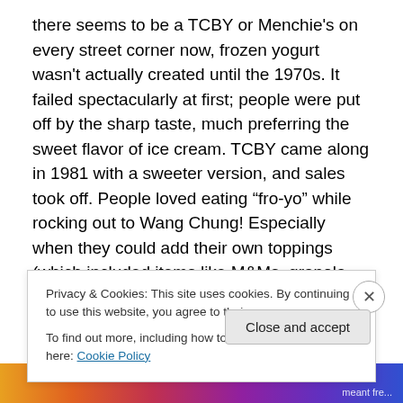there seems to be a TCBY or Menchie's on every street corner now, frozen yogurt wasn't actually created until the 1970s. It failed spectacularly at first; people were put off by the sharp taste, much preferring the sweet flavor of ice cream. TCBY came along in 1981 with a sweeter version, and sales took off. People loved eating “fro-yo” while rocking out to Wang Chung! Especially when they could add their own toppings (which included items like M&Ms, granola, and fruit). But the American public, being fickle, decided once again that you just couldn’t beat high-fat ice cream, and frozen yogurt sales dropped off in the 90s. As
Privacy & Cookies: This site uses cookies. By continuing to use this website, you agree to their use.
To find out more, including how to control cookies, see here: Cookie Policy
Close and accept